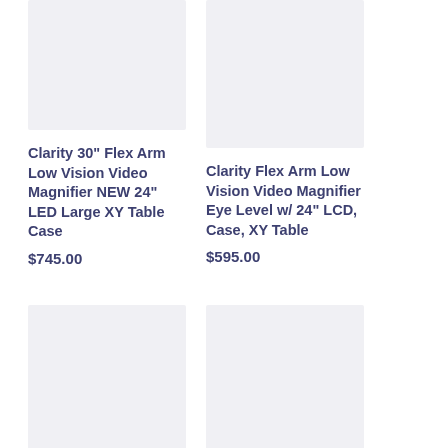[Figure (photo): Product image placeholder - top left, light grey rectangle]
Clarity 30" Flex Arm Low Vision Video Magnifier NEW 24" LED Large XY Table Case
$745.00
[Figure (photo): Product image placeholder - top right, light grey rectangle]
Clarity Flex Arm Low Vision Video Magnifier Eye Level w/ 24" LCD, Case, XY Table
$595.00
[Figure (photo): Product image placeholder - bottom left, light grey rectangle]
Clarity Portable Eye Level Deskmate Low Vision Video
[Figure (photo): Product image placeholder - bottom right, light grey rectangle]
Clarity Lynx Portable Low Vision Video Magnifier 12"